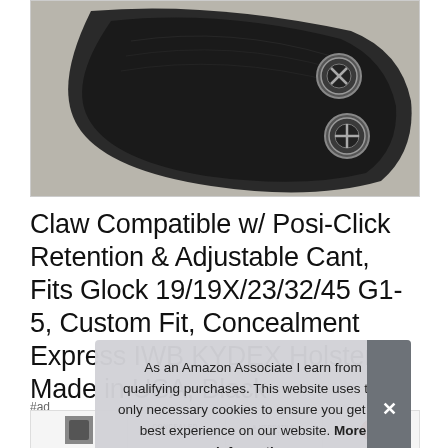[Figure (photo): Close-up photo of a black KYDEX holster showing two adjustment screws with phillips head detail]
Claw Compatible w/ Posi-Click Retention & Adjustable Cant, Fits Glock 19/19X/23/32/45 G1-5, Custom Fit, Concealment Express IWB KYDEX Holster, Made in USA, Black
#ad
As an Amazon Associate I earn from qualifying purchases. This website uses the only necessary cookies to ensure you get the best experience on our website. More information
[Figure (photo): Bottom product thumbnail strip showing holster images and labels: CONCEALED. and & VERSATILE]